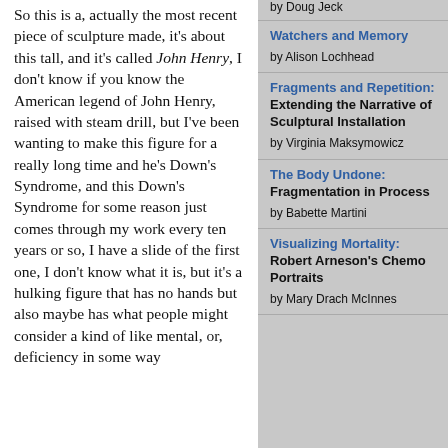So this is a, actually the most recent piece of sculpture made, it's about this tall, and it's called John Henry, I don't know if you know the American legend of John Henry, raised with steam drill, but I've been wanting to make this figure for a really long time and he's Down's Syndrome, and this Down's Syndrome for some reason just comes through my work every ten years or so, I have a slide of the first one, I don't know what it is, but it's a hulking figure that has no hands but also maybe has what people might consider a kind of like mental, or, deficiency in some way
by Doug Jeck
Watchers and Memory
by Alison Lochhead
Fragments and Repetition: Extending the Narrative of Sculptural Installation
by Virginia Maksymowicz
The Body Undone: Fragmentation in Process
by Babette Martini
Visualizing Mortality: Robert Arneson's Chemo Portraits
by Mary Drach McInnes